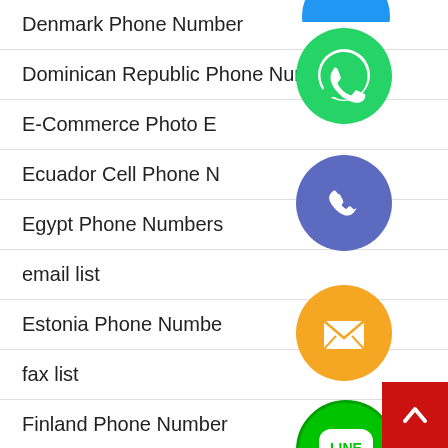Denmark Phone Number
Dominican Republic Phone Numbers
E-Commerce Photo E…
Ecuador Cell Phone N…
Egypt Phone Numbers
email list
Estonia Phone Numbe…
fax list
Finland Phone Number